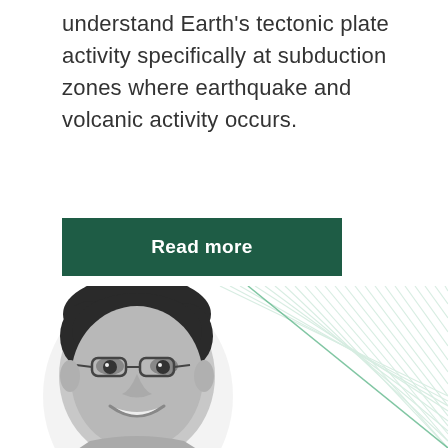understand Earth's tectonic plate activity specifically at subduction zones where earthquake and volcanic activity occurs.
[Figure (other): Green button reading 'Read more']
[Figure (photo): Black and white headshot portrait of a young Asian man with glasses, short dark hair, smiling. Diagonal light green lines pattern in the background to the right.]